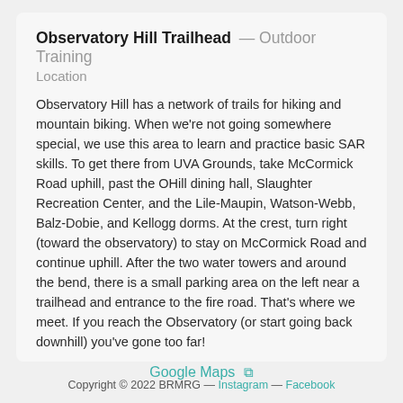Observatory Hill Trailhead — Outdoor Training Location
Observatory Hill has a network of trails for hiking and mountain biking. When we're not going somewhere special, we use this area to learn and practice basic SAR skills. To get there from UVA Grounds, take McCormick Road uphill, past the OHill dining hall, Slaughter Recreation Center, and the Lile-Maupin, Watson-Webb, Balz-Dobie, and Kellogg dorms. At the crest, turn right (toward the observatory) to stay on McCormick Road and continue uphill. After the two water towers and around the bend, there is a small parking area on the left near a trailhead and entrance to the fire road. That's where we meet. If you reach the Observatory (or start going back downhill) you've gone too far!
Google Maps
Copyright © 2022 BRMRG — Instagram — Facebook